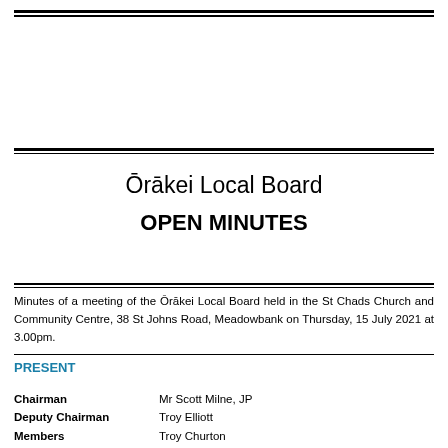Ōrākei Local Board
OPEN MINUTES
Minutes of a meeting of the Ōrākei Local Board held in the St Chads Church and Community Centre, 38 St Johns Road, Meadowbank on Thursday, 15 July 2021 at 3.00pm.
PRESENT
Chairman: Mr Scott Milne, JP
Deputy Chairman: Troy Elliott
Members: Troy Churton